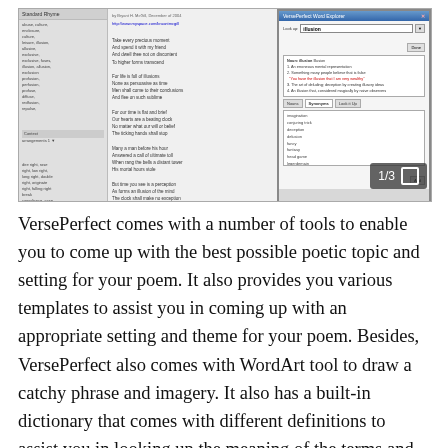[Figure (screenshot): Screenshot of VersePerfect software showing a word processing interface with a poem on the left side and the VersePerfect Word Explorer dictionary popup on the right, displaying definitions for a word. A 1/3 image counter is visible in the bottom-right corner of the screenshot.]
VersePerfect comes with a number of tools to enable you to come up with the best possible poetic topic and setting for your poem. It also provides you various templates to assist you in coming up with an appropriate setting and theme for your poem. Besides, VersePerfect also comes with WordArt tool to draw a catchy phrase and imagery. It also has a built-in dictionary that comes with different definitions to assist you in looking up the meaning of the terms and words while writing your poem.